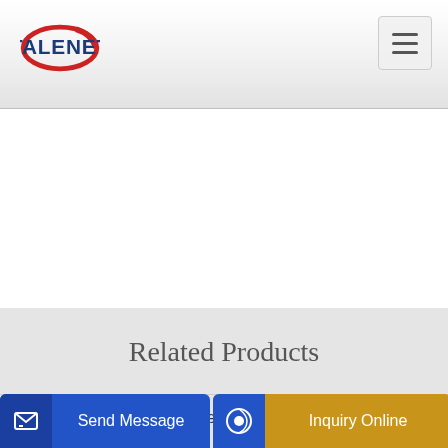[Figure (logo): Talenet logo with red ellipse and blue bold text TALENET]
Related Products
Lonesome Dove Concrete Pumping LLC ProView
Solid Bronze Cement Mixer Cement Truck Cufflinks Cuff Links Men
Send Message
Inquiry Online